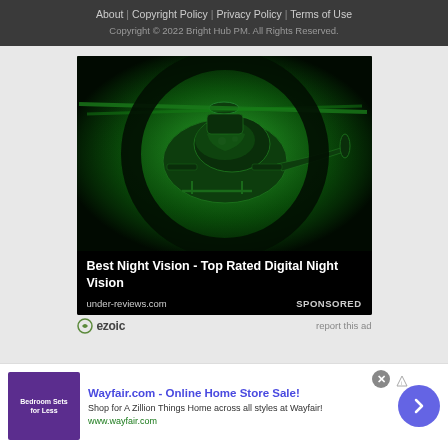About | Copyright Policy | Privacy Policy | Terms of Use
Copyright © 2022 Bright Hub PM. All Rights Reserved.
[Figure (photo): Night vision image of a military helicopter viewed from below at an angle, with green tint. Advertisement for Best Night Vision - Top Rated Digital Night Vision on under-reviews.com. Labeled SPONSORED.]
ezoic   report this ad
[Figure (other): Wayfair.com - Online Home Store Sale! advertisement banner with purple product image, blue title text, description 'Shop for A Zillion Things Home across all styles at Wayfair!', www.wayfair.com URL, and a blue circular arrow button.]